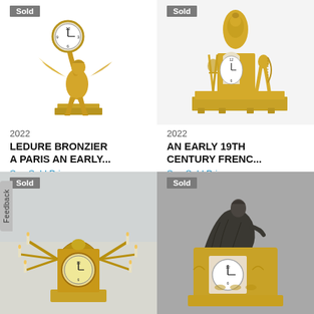[Figure (photo): Gold ormolu clock figurine of a winged figure holding a clock face aloft, on a rectangular base, with 'Sold' badge]
2022
LEDURE BRONZIER A PARIS AN EARLY...
See Sold Price
[Figure (photo): Gold ormolu mantel clock with archer figure and urn, on stepped base, with 'Sold' badge]
2022
AN EARLY 19TH CENTURY FRENC...
See Sold Price
[Figure (photo): Ornate gilt bronze candelabra clock garniture with multiple candle arms, with 'Sold' badge]
[Figure (photo): Ormolu and patinated bronze mantel clock with seated draped figure on top, white enamel dial, with 'Sold' badge]